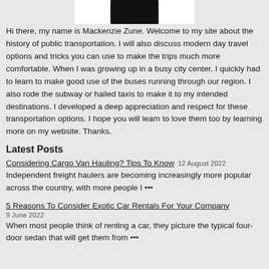[Figure (photo): Partial image of a person shown at top of page, bottom portion visible against white background]
Hi there, my name is Mackenzie Zune. Welcome to my site about the history of public transportation. I will also discuss modern day travel options and tricks you can use to make the trips much more comfortable. When I was growing up in a busy city center, I quickly had to learn to make good use of the buses running through our region. I also rode the subway or hailed taxis to make it to my intended destinations. I developed a deep appreciation and respect for these transportation options. I hope you will learn to love them too by learning more on my website. Thanks.
Latest Posts
Considering Cargo Van Hauling? Tips To Know  12 August 2022  Independent freight haulers are becoming increasingly more popular across the country, with more people I •••
5 Reasons To Consider Exotic Car Rentals For Your Company  9 June 2022  When most people think of renting a car, they picture the typical four-door sedan that will get them from •••